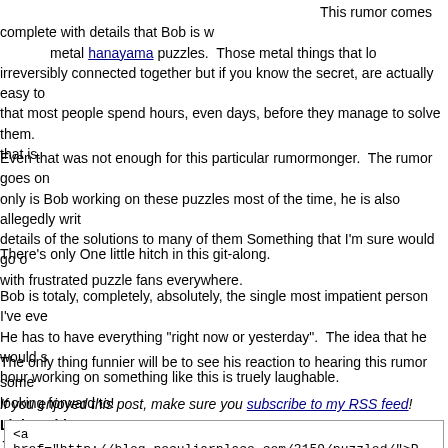This rumor comes complete with details that Bob is working on metal hanayama puzzles. Those metal things that look irreversibly connected together but if you know the secret, are actually easy to that most people spend hours, even days, before they manage to solve them. that is.
Even that was not enough for this particular rumormonger. The rumor goes on only is Bob working on these puzzles most of the time, he is also allegedly writing details of the solutions to many of them Something that I'm sure would go over with frustrated puzzle fans everywhere.
There's only One little hitch in this git-along.
Bob is totaly, completely, absolutely, the single most impatient person I've ever met. He has to have everything "right now or yesterday". The idea that he would spend an hour working on something like this is truely laughable.
The only thing funnier will be to see his reaction to hearing this rumor some day. looking forward to!
If you enjoyed this post, make sure you subscribe to my RSS feed! Link to this post: Just copy this code and paste it on your site where you want the link to appear:
<a
href="http://blog.peculiarplace.com/3159/puzzled/">P